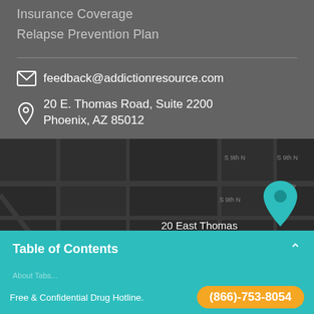Insurance Coverage
Relapse Prevention Plan
feedback@addictionresource.com
20 E. Thomas Road, Suite 2200
Phoenix, AZ 85012
[Figure (map): Dark street map showing location pin at 20 East Thomas Road #2200 in Phoenix, AZ]
Table of Contents
Free & Confidential Drug Hotline.  (866)-753-8054